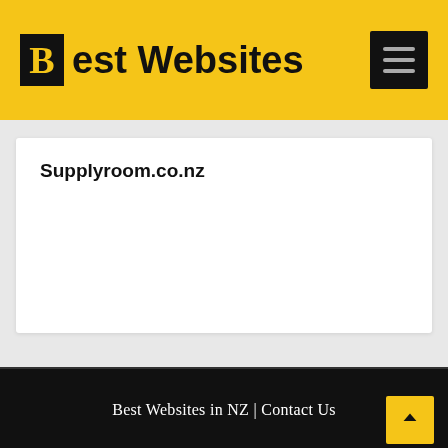Best Websites
Supplyroom.co.nz
Best Websites in NZ | Contact Us